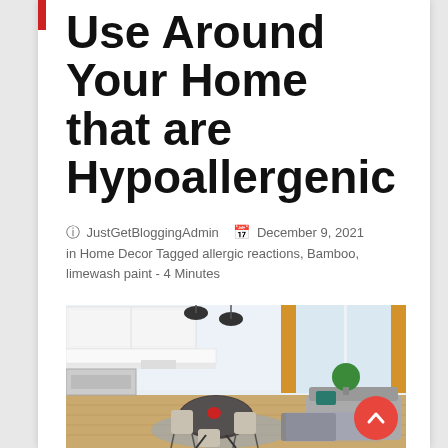Use Around Your Home that are Hypoallergenic
© JustGetBloggingAdmin  🗓 December 9, 2021 in Home Decor Tagged allergic reactions, Bamboo, limewash paint - 4 Minutes
[Figure (photo): Modern open-plan living and dining area with white kitchen cabinets, a round dining table with chairs, pendant lights, large windows with yellow curtains, and a grey sofa on a patterned rug.]